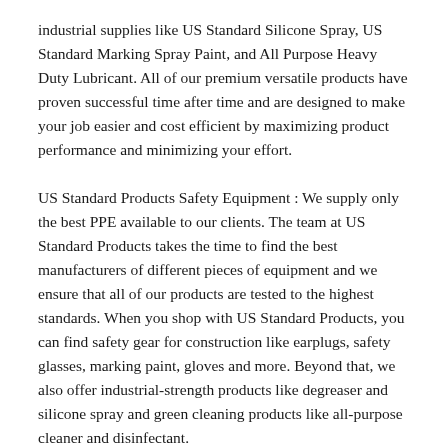industrial supplies like US Standard Silicone Spray, US Standard Marking Spray Paint, and All Purpose Heavy Duty Lubricant. All of our premium versatile products have proven successful time after time and are designed to make your job easier and cost efficient by maximizing product performance and minimizing your effort.
US Standard Products Safety Equipment : We supply only the best PPE available to our clients. The team at US Standard Products takes the time to find the best manufacturers of different pieces of equipment and we ensure that all of our products are tested to the highest standards. When you shop with US Standard Products, you can find safety gear for construction like earplugs, safety glasses, marking paint, gloves and more. Beyond that, we also offer industrial-strength products like degreaser and silicone spray and green cleaning products like all-purpose cleaner and disinfectant.